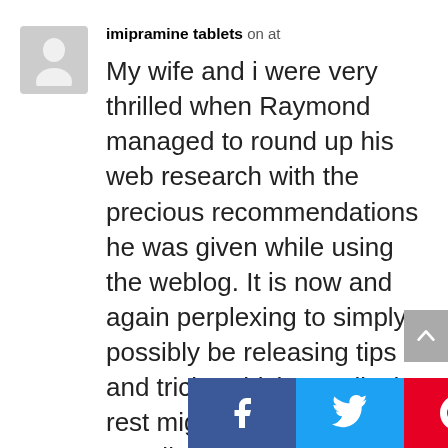[Figure (illustration): Grey avatar placeholder with a silhouette of a person]
imipramine tablets on at
My wife and i were very thrilled when Raymond managed to round up his web research with the precious recommendations he was given while using the weblog. It is now and again perplexing to simply possibly be releasing tips and tricks which usually the rest might have been trying to sell. We really understand we now have you to thank for this. Those illustrations you made, the straightforward website
[Figure (infographic): Social share buttons: Facebook (blue), Twitter (light blue), Pinterest (red)]